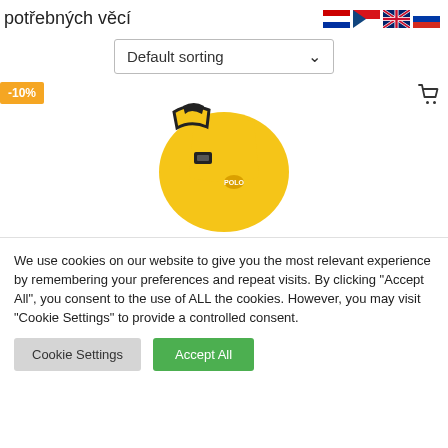potřebných věcí
Default sorting
[Figure (screenshot): Product image showing a yellow bag with black stripes and a buckle clip, partially cropped. A -10% badge is shown in the top-left and a cart icon in the top-right.]
We use cookies on our website to give you the most relevant experience by remembering your preferences and repeat visits. By clicking "Accept All", you consent to the use of ALL the cookies. However, you may visit "Cookie Settings" to provide a controlled consent.
Cookie Settings | Accept All